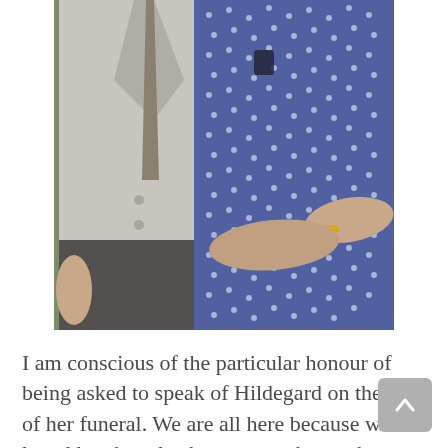[Figure (photo): A vintage photograph showing two elderly people from the torso down. The person on the left wears a light grey suit jacket with a patterned tie. The person on the right wears a blue and white polka-dot patterned dress or suit with a gold bracelet on their wrist, standing in front of greenery.]
I am conscious of the particular honour of being asked to speak of Hildegard on the day of her funeral. We are all here because we loved her, but also because we knew she